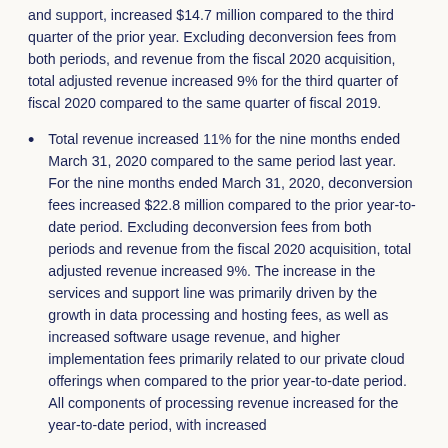and support, increased $14.7 million compared to the third quarter of the prior year. Excluding deconversion fees from both periods, and revenue from the fiscal 2020 acquisition, total adjusted revenue increased 9% for the third quarter of fiscal 2020 compared to the same quarter of fiscal 2019.
Total revenue increased 11% for the nine months ended March 31, 2020 compared to the same period last year. For the nine months ended March 31, 2020, deconversion fees increased $22.8 million compared to the prior year-to-date period. Excluding deconversion fees from both periods and revenue from the fiscal 2020 acquisition, total adjusted revenue increased 9%. The increase in the services and support line was primarily driven by the growth in data processing and hosting fees, as well as increased software usage revenue, and higher implementation fees primarily related to our private cloud offerings when compared to the prior year-to-date period. All components of processing revenue increased for the year-to-date period, with increased